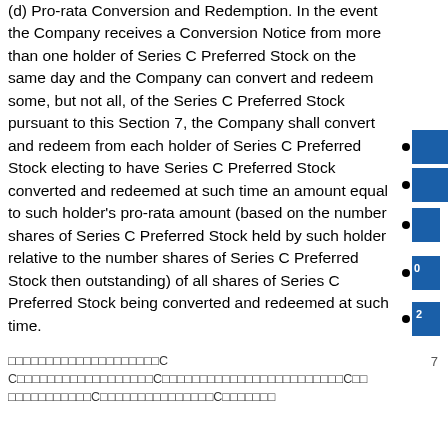(d) Pro-rata Conversion and Redemption. In the event the Company receives a Conversion Notice from more than one holder of Series C Preferred Stock on the same day and the Company can convert and redeem some, but not all, of the Series C Preferred Stock pursuant to this Section 7, the Company shall convert and redeem from each holder of Series C Preferred Stock electing to have Series C Preferred Stock converted and redeemed at such time an amount equal to such holder's pro-rata amount (based on the number shares of Series C Preferred Stock held by such holder relative to the number shares of Series C Preferred Stock then outstanding) of all shares of Series C Preferred Stock being converted and redeemed at such time.
□□□□□□□□□□□□□□□□□□□□C   7
C□□□□□□□□□□□□□□□□□□C□□□□□□□□□□□□□□□□□□□□□□□□C□□ □□□□□□□□□□C□□□□□□□□□□□□□□□C□□□□□□□